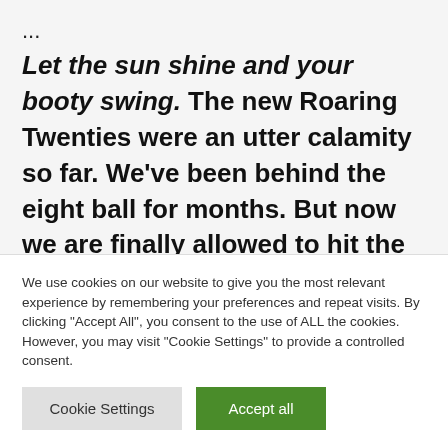...
Let the sun shine and your booty swing. The new Roaring Twenties were an utter calamity so far. We've been behind the eight ball for months. But now we are finally allowed to hit the drum again in fancy schmancy glad rags. Dear flapper girls and natty fellas, we welcome you to the first fabulous wingding of this year. A little party never killed
We use cookies on our website to give you the most relevant experience by remembering your preferences and repeat visits. By clicking "Accept All", you consent to the use of ALL the cookies. However, you may visit "Cookie Settings" to provide a controlled consent.
Cookie Settings
Accept all